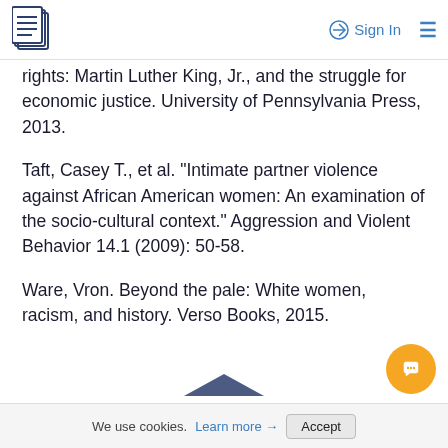Sign In
rights: Martin Luther King, Jr., and the struggle for economic justice. University of Pennsylvania Press, 2013.
Taft, Casey T., et al. "Intimate partner violence against African American women: An examination of the socio-cultural context." Aggression and Violent Behavior 14.1 (2009): 50-58.
Ware, Vron. Beyond the pale: White women, racism, and history. Verso Books, 2015.
We use cookies. Learn more → Accept